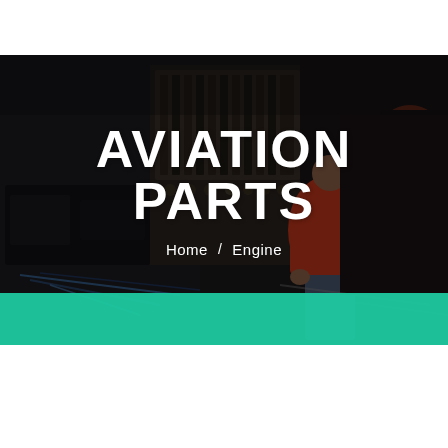[Figure (photo): Dark workshop/hangar background showing a mechanic in a red shirt working on mechanical equipment, with complex wiring panels and machinery visible. A teal/green decorative bar overlays the bottom of the image.]
AVIATION PARTS
Home / Engine